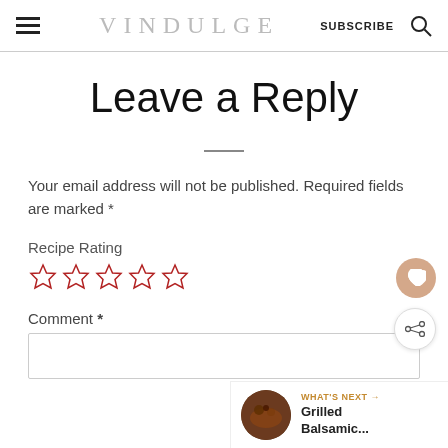VINDULGE  SUBSCRIBE
Leave a Reply
Your email address will not be published. Required fields are marked *
Recipe Rating
[Figure (illustration): Five empty star rating icons in crimson/red outline]
Comment *
[Figure (photo): What's Next callout with thumbnail of Grilled Balsamic... dish]
[Figure (illustration): Heart favorite button (rounded orange/tan circle) and Share button (white circle with share icon)]